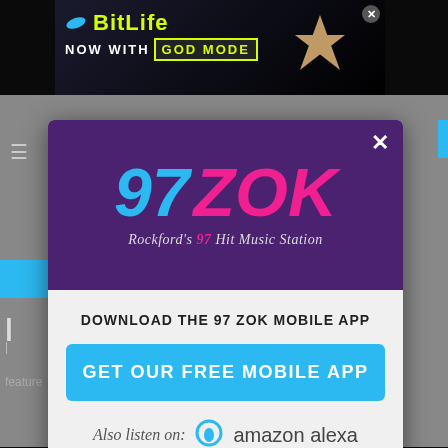[Figure (screenshot): Top advertisement banner for BitLife game: 'NOW WITH GOD MODE']
[Figure (screenshot): 97 ZOK radio station modal popup with purple header showing logo '97 ZOK - Rockford's #1 Hit Music Station', download app prompt, blue GET OUR FREE MOBILE APP button, and Amazon Alexa listen option]
DOWNLOAD THE 97 ZOK MOBILE APP
GET OUR FREE MOBILE APP
Also listen on:  amazon alexa
feature
[Figure (screenshot): Bottom advertisement banner for BitLife game: 'FAIL - START A NEW LIFE']